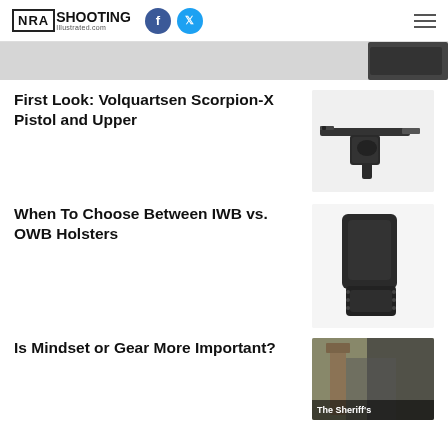NRA Shooting Illustrated .com
[Figure (photo): Partial image strip at top of page, dark object visible at right edge]
First Look: Volquartsen Scorpion-X Pistol and Upper
[Figure (photo): Black Volquartsen Scorpion-X pistol on white background]
When To Choose Between IWB vs. OWB Holsters
[Figure (photo): Black OWB holster on white background]
Is Mindset or Gear More Important?
[Figure (photo): Outdoor scene with wooden fence post, caption reads 'The Sheriff's']